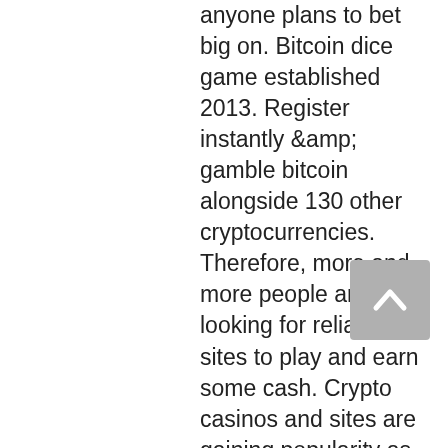anyone plans to bet big on. Bitcoin dice game established 2013. Register instantly &amp; gamble bitcoin alongside 130 other cryptocurrencies. Therefore, more and more people are looking for reliable sites to play and earn some cash. Crypto casinos and sites are gaining popularity as they offer:. Esports betting tipster: your ultimate place for winning tips. Play your favorite bitcoin casino games. Fun and innovative bitcoin gambling platform. Win bitcoins by playing variety of bitcoin gambling games. Just check us out! Learn about the different kinds of bitcoin casino jackpots and how likely is it for you to win a jackpot in an online crypto casino. Transparent and fair gambling. Bitfresh is the first community-driven igaming platform where everyone wins. Some casino games can give you odds of almost 50%, meaning you'd have an even chance of winning. Not only can you win nearly half of the time. This way, they can win some